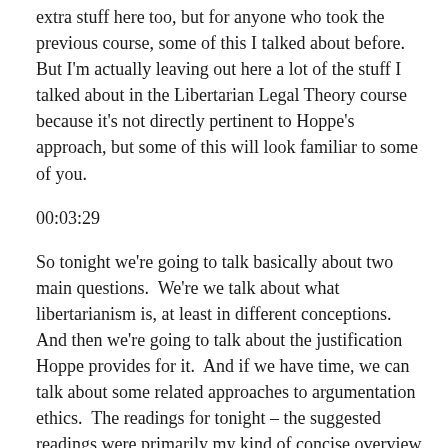extra stuff here too, but for anyone who took the previous course, some of this I talked about before.  But I'm actually leaving out here a lot of the stuff I talked about in the Libertarian Legal Theory course because it's not directly pertinent to Hoppe's approach, but some of this will look familiar to some of you.
00:03:29
So tonight we're going to talk basically about two main questions.  We're we talk about what libertarianism is, at least in different conceptions.  And then we're going to talk about the justification Hoppe provides for it.  And if we have time, we can talk about some related approaches to argumentation ethics.  The readings for tonight – the suggested readings were primarily my kind of concise overview and Hoppe's article "From the Economics of Laissez Faire to the Ethics of Libertarianism."